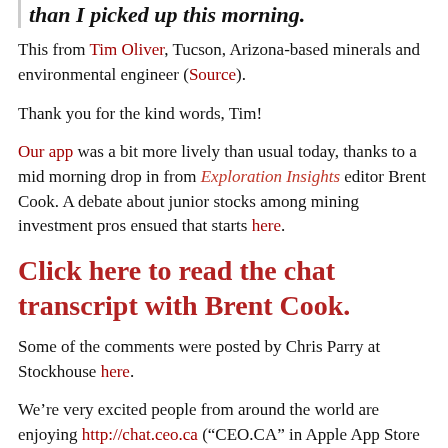than I picked up this morning.
This from Tim Oliver, Tucson, Arizona-based minerals and environmental engineer (Source).
Thank you for the kind words, Tim!
Our app was a bit more lively than usual today, thanks to a mid morning drop in from Exploration Insights editor Brent Cook. A debate about junior stocks among mining investment pros ensued that starts here.
Click here to read the chat transcript with Brent Cook.
Some of the comments were posted by Chris Parry at Stockhouse here.
We’re very excited people from around the world are enjoying http://chat.ceo.ca (“CEO.CA” in Apple App Store